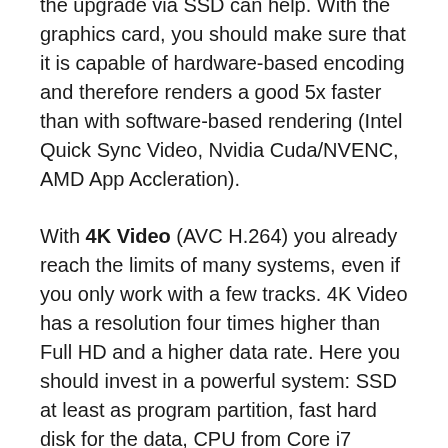become a bottleneck. In case of doubt, the upgrade via SSD can help. With the graphics card, you should make sure that it is capable of hardware-based encoding and therefore renders a good 5x faster than with software-based rendering (Intel Quick Sync Video, Nvidia Cuda/NVENC, AMD App Accleration).
With 4K Video (AVC H.264) you already reach the limits of many systems, even if you only work with a few tracks. 4K Video has a resolution four times higher than Full HD and a higher data rate. Here you should invest in a powerful system: SSD at least as program partition, fast hard disk for the data, CPU from Core i7 upwards and 16 GB RAM. Hardware-based rendering of the graphics card is also a must.
HEVC video is already supported in the last generations of the iPhone, while it is only slowly making its way into dedicated photo/video cameras. HEVC is a very...